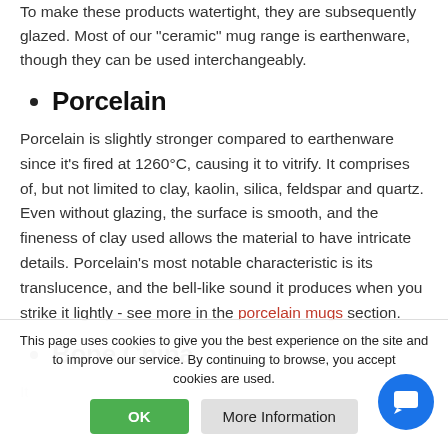To make these products watertight, they are subsequently glazed. Most of our "ceramic" mug range is earthenware, though they can be used interchangeably.
Porcelain
Porcelain is slightly stronger compared to earthenware since it's fired at 1260°C, causing it to vitrify. It comprises of, but not limited to clay, kaolin, silica, feldspar and quartz. Even without glazing, the surface is smooth, and the fineness of clay used allows the material to have intricate details. Porcelain's most notable characteristic is its translucence, and the bell-like sound it produces when you strike it lightly - see more in the porcelain mugs section.
Bone China
This page uses cookies to give you the best experience on the site and to improve our service. By continuing to browse, you accept that cookies are used.